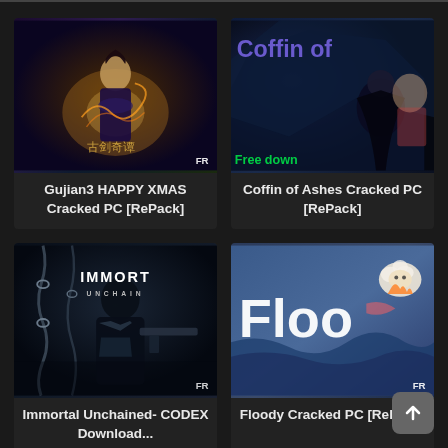[Figure (screenshot): Gujian3 game cover art with fantasy Chinese warrior character]
Gujian3 HAPPY XMAS Cracked PC [RePack]
[Figure (screenshot): Coffin of Ashes game cover art showing animated dark figure, title text 'Coffin of' visible, 'Free down' text in green]
Coffin of Ashes Cracked PC [RePack]
[Figure (screenshot): Immortal Unchained game cover art with dark sci-fi figure and chains, IMMORT UNCHAIN logo text]
Immortal Unchained- CODEX Download...
[Figure (screenshot): Floody game cover art with cute sheep character and large 'Floo' text]
Floody Cracked PC [RePack]